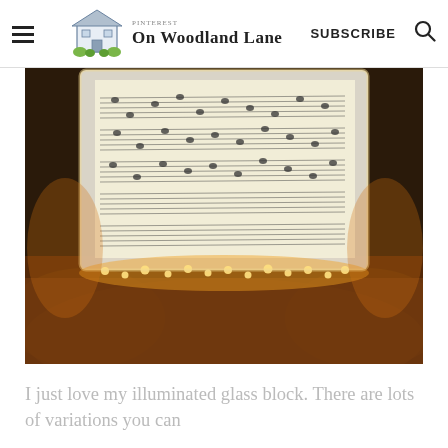On Woodland Lane — SUBSCRIBE
[Figure (photo): An illuminated glass block with sheet music decoupaged onto it, sitting on a wooden surface with warm fairy lights glowing underneath and around the base.]
I just love my illuminated glass block. There are lots of variations you can